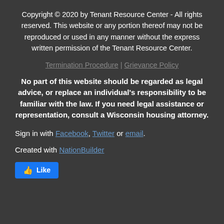Copyright © 2020 by Tenant Resource Center - All rights reserved. This website or any portion thereof may not be reproduced or used in any manner without the express written permission of the Tenant Resource Center.
Termination Procedure | Grievance Policy
No part of this website should be regarded as legal advice, or replace an individual's responsibility to be familiar with the law. If you need legal assistance or representation, consult a Wisconsin housing attorney.
Sign in with Facebook, Twitter or email.
Created with NationBuilder
[Figure (other): Facebook Like button (blue rectangular button with thumbs up icon and 'Like' text)]